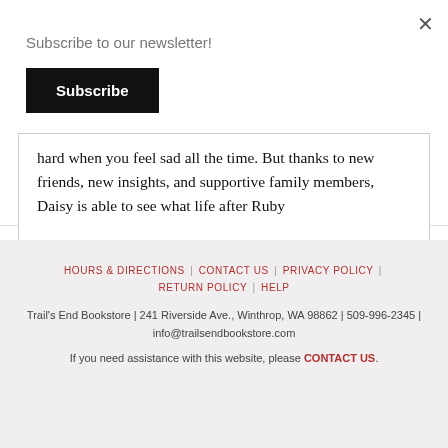Subscribe to our newsletter!
Subscribe
hard when you feel sad all the time. But thanks to new friends, new insights, and supportive family members, Daisy is able to see what life after Ruby
HOURS & DIRECTIONS | CONTACT US | PRIVACY POLICY | RETURN POLICY | HELP
Trail's End Bookstore | 241 Riverside Ave., Winthrop, WA 98862 | 509-996-2345 | info@trailsendbookstore.com
If you need assistance with this website, please CONTACT US.